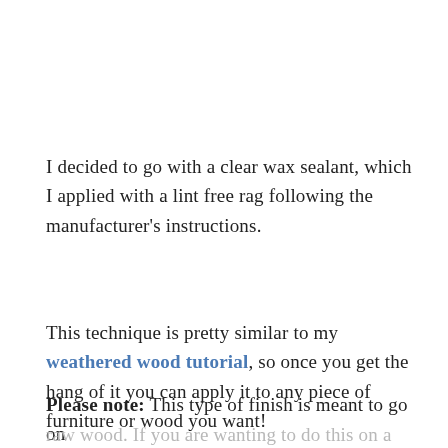I decided to go with a clear wax sealant, which I applied with a lint free rag following the manufacturer's instructions.
This technique is pretty similar to my weathered wood tutorial, so once you get the hang of it you can apply it to any piece of furniture or wood you want!
Please note: This type of finish is meant to go on raw wood. If you are wanting to do this on a piece that...